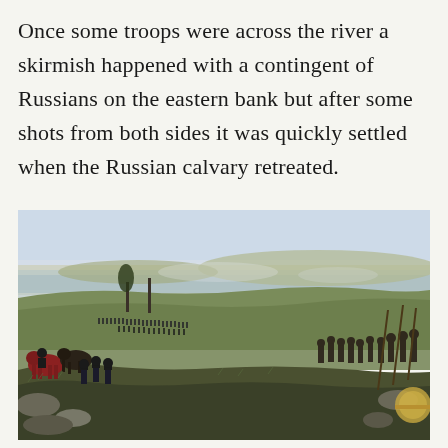Once some troops were across the river a skirmish happened with a contingent of Russians on the eastern bank but after some shots from both sides it was quickly settled when the Russian calvary retreated.
[Figure (illustration): Historical painting depicting a military scene with soldiers, horses, and troops crossing or positioned near a river landscape. The scene shows infantry formations in the middle ground, cavalry and soldiers in the foreground with rocky terrain, and a wide river valley stretching into the distance under a pale sky.]